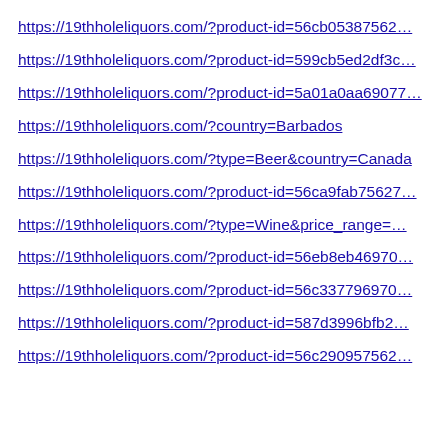https://19thholeliquors.com/?product-id=56cb05387562…
https://19thholeliquors.com/?product-id=599cb5ed2df3c…
https://19thholeliquors.com/?product-id=5a01a0aa69077…
https://19thholeliquors.com/?country=Barbados
https://19thholeliquors.com/?type=Beer&country=Canada
https://19thholeliquors.com/?product-id=56ca9fab75627…
https://19thholeliquors.com/?type=Wine&price_range=…
https://19thholeliquors.com/?product-id=56eb8eb46970…
https://19thholeliquors.com/?product-id=56c337796970…
https://19thholeliquors.com/?product-id=587d3996bfb2…
https://19thholeliquors.com/?product-id=56c290957562…